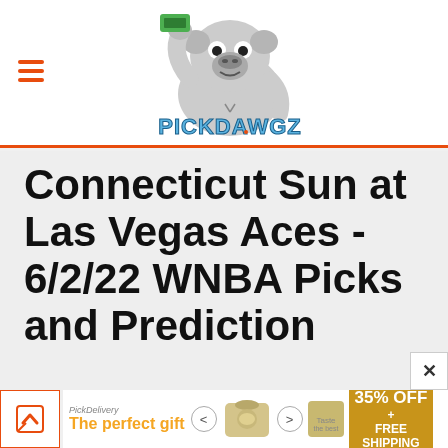[Figure (logo): PickDawgz logo: cartoon bulldog holding money with text PICKDAWGZ in blue block letters]
Connecticut Sun at Las Vegas Aces - 6/2/22 WNBA Picks and Prediction
[Figure (infographic): Bottom advertisement bar: The perfect gift, 35% OFF + FREE SHIPPING]